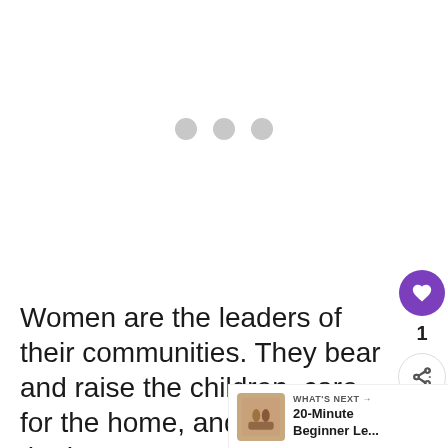[Figure (other): Loading indicator with three gray circles (dots) centered on a white background, indicating content is loading.]
Women are the leaders of their communities. They bear and raise the children, care for the home, and w outside the home to provide for their families, to develop in competence, th...
[Figure (screenshot): UI sidebar showing a purple heart/like button, a count of 1, and a share button (network icon). Below is a 'WHAT'S NEXT' bar showing a thumbnail image of two people and the title '20-Minute Beginner Le...']